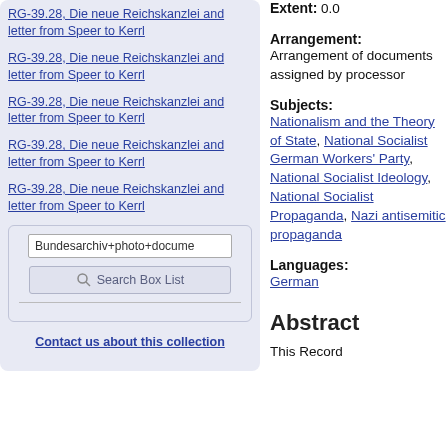RG-39.28, Die neue Reichskanzlei and letter from Speer to Kerrl
RG-39.28, Die neue Reichskanzlei and letter from Speer to Kerrl
RG-39.28, Die neue Reichskanzlei and letter from Speer to Kerrl
RG-39.28, Die neue Reichskanzlei and letter from Speer to Kerrl
RG-39.28, Die neue Reichskanzlei and letter from Speer to Kerrl
Bundesarchiv+photo+docume
Search Box List
Contact us about this collection
Extent: 0.0
Arrangement: Arrangement of documents assigned by processor
Subjects: Nationalism and the Theory of State, National Socialist German Workers' Party, National Socialist Ideology, National Socialist Propaganda, Nazi antisemitic propaganda
Languages: German
Abstract
This Record